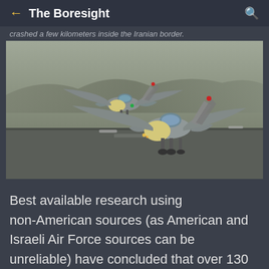The Boresight
crashed a few kilometers inside the Iranian border.
[Figure (photo): Two military fighter jets (F-14 Tomcats) taxiing on a runway, photographed head-on at low angle. Aircraft have swept wings, large radome noses, and external weapons. Background shows arid terrain.]
Best available research using non-American sources (as American and Israeli Air Force sources can be unreliable) have concluded that over 130